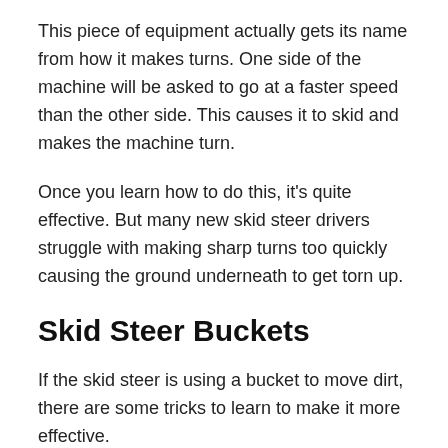This piece of equipment actually gets its name from how it makes turns. One side of the machine will be asked to go at a faster speed than the other side. This causes it to skid and makes the machine turn.
Once you learn how to do this, it’s quite effective. But many new skid steer drivers struggle with making sharp turns too quickly causing the ground underneath to get torn up.
Skid Steer Buckets
If the skid steer is using a bucket to move dirt, there are some tricks to learn to make it more effective.
To fill the bucket first, you want to push it straight